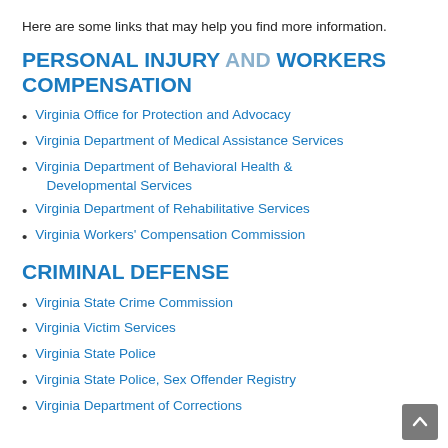Here are some links that may help you find more information.
PERSONAL INJURY AND WORKERS COMPENSATION
Virginia Office for Protection and Advocacy
Virginia Department of Medical Assistance Services
Virginia Department of Behavioral Health & Developmental Services
Virginia Department of Rehabilitative Services
Virginia Workers' Compensation Commission
CRIMINAL DEFENSE
Virginia State Crime Commission
Virginia Victim Services
Virginia State Police
Virginia State Police, Sex Offender Registry
Virginia Department of Corrections